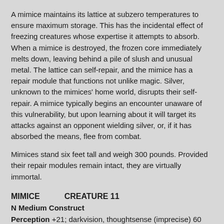A mimice maintains its lattice at subzero temperatures to ensure maximum storage. This has the incidental effect of freezing creatures whose expertise it attempts to absorb. When a mimice is destroyed, the frozen core immediately melts down, leaving behind a pile of slush and unusual metal. The lattice can self-repair, and the mimice has a repair module that functions not unlike magic. Silver, unknown to the mimices' home world, disrupts their self-repair. A mimice typically begins an encounter unaware of this vulnerability, but upon learning about it will target its attacks against an opponent wielding silver, or, if it has absorbed the means, flee from combat.
Mimices stand six feet tall and weigh 300 pounds. Provided their repair modules remain intact, they are virtually immortal.
MIMICE   CREATURE 11
N Medium Construct
Perception +21; darkvision, thoughtsense (imprecise) 60 feet
Languages Common
Skills Acrobatics +23, Athletics +21, Stealth +23
Str +3, Dex +7, Con +0, Int +1, Wis +2, Cha +5
AC 31; Fort +17, Ref +25, Will +20